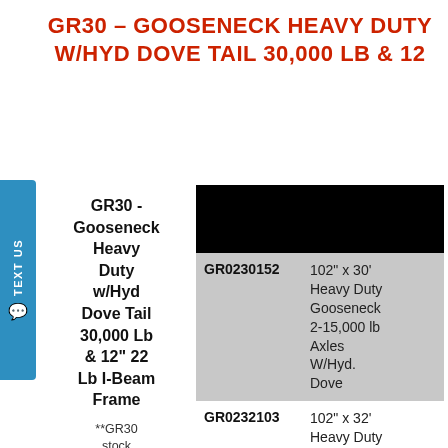GR30 - GOOSENECK HEAVY DUTY W/HYD DOVE TAIL 30,000 LB & 12
GR30 - Gooseneck Heavy Duty w/Hyd Dove Tail 30,000 Lb & 12" 22 Lb I-Beam Frame
[Figure (photo): Black image placeholder / product photo of GR30 Gooseneck trailer]
| Code | Description |
| --- | --- |
| GR0230152 | 102" x 30' Heavy Duty Gooseneck 2-15,000 lb Axles W/Hyd. Dove |
| GR0232103 | 102" x 32' Heavy Duty Gooseneck 3-10,000 lb Axles W/Hyd. |
**GR30 stock photo. May be shown